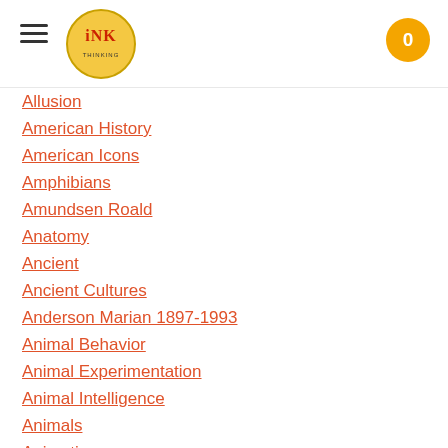INK logo navigation header with hamburger menu and cart button showing 0
Allusion
American History
American Icons
Amphibians
Amundsen Roald
Anatomy
Ancient
Ancient Cultures
Anderson Marian 1897-1993
Animal Behavior
Animal Experimentation
Animal Intelligence
Animals
Animation